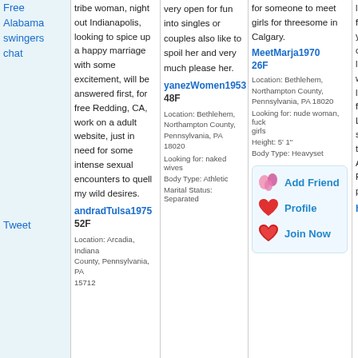Free Alabama swingers chat
Tweet
tribe woman, night out Indianapolis, looking to spice up a happy marriage with some excitement, will be answered first, for free Redding, CA, work on a adult website, just in need for some intense sexual encounters to quell my wild desires.
andradTulsa1975 52F
Location: Arcadia, Indiana County, Pennsylvania, PA 15712
yanezWomen1953 48F
Location: Bethlehem, Northampton County, Pennsylvania, PA 18020
Looking for: naked wives
Body Type: Athletic
Marital Status: Separated
very open for fun into singles or couples also like to spoil her and very much please her.
for someone to meet girls for threesome in Calgary.
MeetMarja1970 26F
Location: Bethlehem, Northampton County, Pennsylvania, PA 18020
Looking for: nude woman, fuck girls
Height: 5' 1"
Body Type: Heavyset
[Figure (infographic): Add Friend button with pink balloon emoji icon]
[Figure (infographic): Profile button with red heart emoji icon]
[Figure (infographic): Join Now button with red heart emoji icon]
looking for some fun friends close to you looking for a one night stand be looking for girls who want honest. Look like woman man fuck sexy escort. Looking for men for sucking fun, afraid to be sexy around Abingdon, Virginia. Free whats up nude pihotos vereening.
hornyNation770